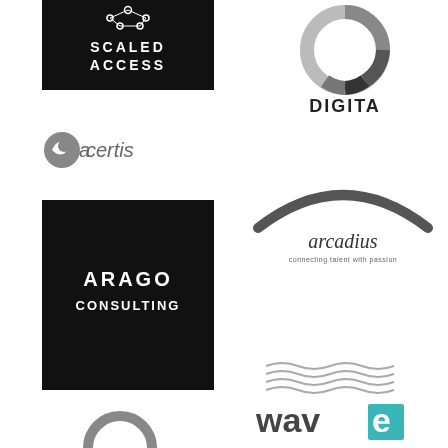[Figure (logo): Scaled Access logo — white text on black background with network/node graphic]
[Figure (logo): Digita logo — grey donut/ring graphic with DIGITA bold text below]
[Figure (logo): Acertis logo — grey circular icon with 'acertis' text]
[Figure (logo): Arcadius logo — grey arch above 'arcadius' italic text with tagline 'connecting talent with passion']
[Figure (logo): Arago Consulting logo — white bold text on black square background]
[Figure (logo): Wave logo — grey wavy lines above bold 'wave' text with teal square accent]
[Figure (logo): Partial logo at bottom left — grey circular icon, partially visible]